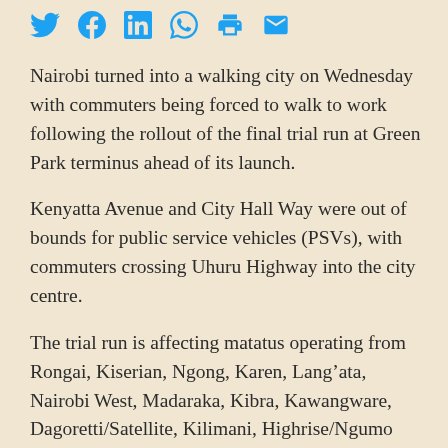[Figure (other): Social media share icons: Twitter, Facebook, LinkedIn, WhatsApp, Print, Email]
Nairobi turned into a walking city on Wednesday with commuters being forced to walk to work following the rollout of the final trial run at Green Park terminus ahead of its launch.
Kenyatta Avenue and City Hall Way were out of bounds for public service vehicles (PSVs), with commuters crossing Uhuru Highway into the city centre.
The trial run is affecting matatus operating from Rongai, Kiserian, Ngong, Karen, Lang'ata, Nairobi West, Madaraka, Kibra, Kawangware, Dagoretti/Satellite, Kilimani, Highrise/Ngumo